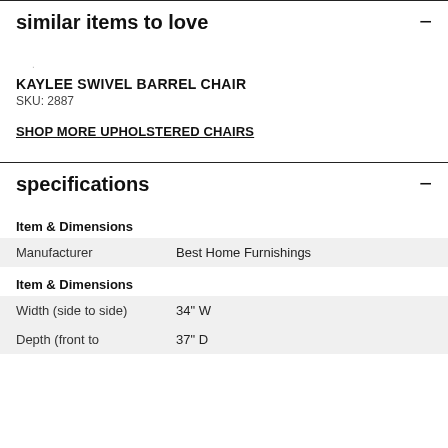similar items to love
.
KAYLEE SWIVEL BARREL CHAIR
SKU: 2887
SHOP MORE UPHOLSTERED CHAIRS
specifications
Item & Dimensions
|  |  |
| --- | --- |
| Manufacturer | Best Home Furnishings |
Item & Dimensions
|  |  |
| --- | --- |
| Width (side to side) | 34" W |
| Depth (front to | 37" D |